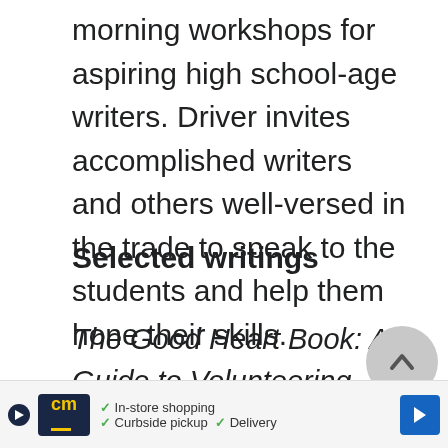morning workshops for aspiring high school-age writers. Driver invites accomplished writers and others well-versed in the trade to speak to the students and help them hone their skills.
Selected writings
The Good Heart Book: A Guide to Volunteering, The Noble Press, 1989
Def... Gu...